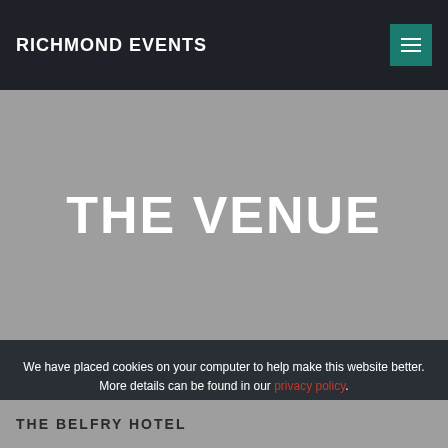RICHMOND EVENTS
THE VENUE
We have placed cookies on your computer to help make this website better. More details can be found in our privacy policy.
Do not show this message again
THE BELFRY HOTEL